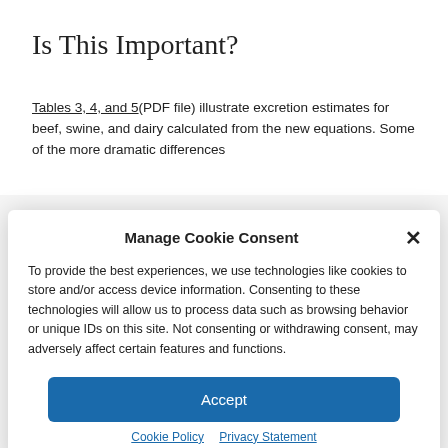Is This Important?
Tables 3, 4, and 5(PDF file) illustrate excretion estimates for beef, swine, and dairy calculated from the new equations. Some of the more dramatic differences
Manage Cookie Consent
To provide the best experiences, we use technologies like cookies to store and/or access device information. Consenting to these technologies will allow us to process data such as browsing behavior or unique IDs on this site. Not consenting or withdrawing consent, may adversely affect certain features and functions.
Accept
Cookie Policy   Privacy Statement